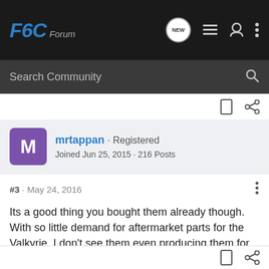F6C Forum
Search Community
mrtappan · Registered
Joined Jun 25, 2015 · 216 Posts
#3 · May 24, 2016
Its a good thing you bought them already though. With so little demand for aftermarket parts for the Valkyrie, I don't see them even producing them for long.